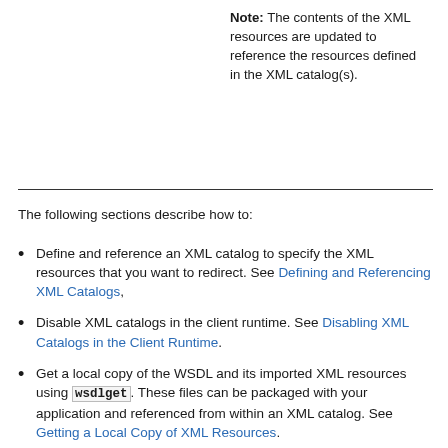Note: The contents of the XML resources are updated to reference the resources defined in the XML catalog(s).
The following sections describe how to:
Define and reference an XML catalog to specify the XML resources that you want to redirect. See Defining and Referencing XML Catalogs,
Disable XML catalogs in the client runtime. See Disabling XML Catalogs in the Client Runtime.
Get a local copy of the WSDL and its imported XML resources using wsdlget. These files can be packaged with your application and referenced from within an XML catalog. See Getting a Local Copy of XML Resources.